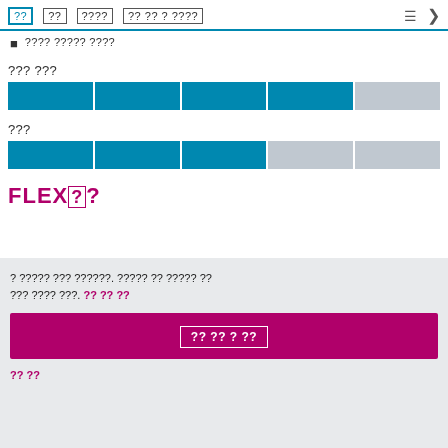?? ?? ???? ?? ?? ? ????
???? ?????? ????
??? ???
[Figure (other): Horizontal segmented progress bar, 4 blue segments and 1 gray segment]
???
[Figure (other): Horizontal segmented progress bar, 3 blue segments and 2 gray segments]
FLEX??
? ????? ??? ??????. ????? ?? ????? ?? ??? ???? ???. ?? ?? ??
?? ?? ?? ?? ??
?? ?? ? ??